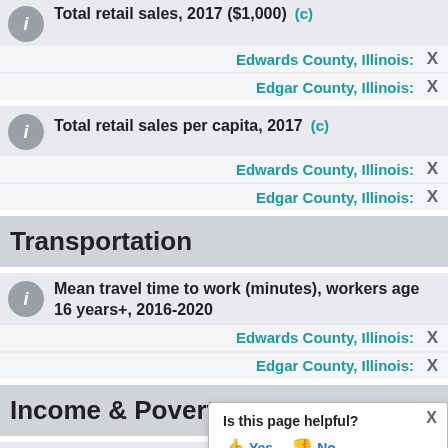Total retail sales, 2017 ($1,000) (c)
Edwards County, Illinois: X
Edgar County, Illinois: X
Total retail sales per capita, 2017 (c)
Edwards County, Illinois: X
Edgar County, Illinois: X
Transportation
Mean travel time to work (minutes), workers age 16 years+, 2016-2020
Edwards County, Illinois: X
Edgar County, Illinois: X
Income & Poverty
Median household income (in